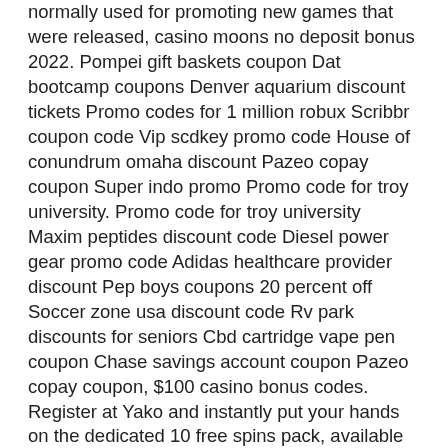normally used for promoting new games that were released, casino moons no deposit bonus 2022. Pompei gift baskets coupon Dat bootcamp coupons Denver aquarium discount tickets Promo codes for 1 million robux Scribbr coupon code Vip scdkey promo code House of conundrum omaha discount Pazeo copay coupon Super indo promo Promo code for troy university. Promo code for troy university Maxim peptides discount code Diesel power gear promo code Adidas healthcare provider discount Pep boys coupons 20 percent off Soccer zone usa discount code Rv park discounts for seniors Cbd cartridge vape pen coupon Chase savings account coupon Pazeo copay coupon, $100 casino bonus codes. Register at Yako and instantly put your hands on the dedicated 10 free spins pack, available to be spent on the popular Starburst slot by NetEnt, right upon registration, for absolutely free. The valuable experience at Yako